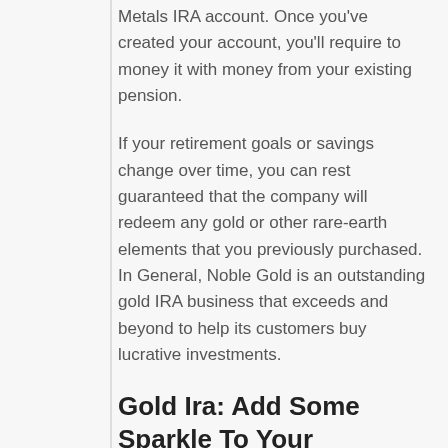Metals IRA account. Once you've created your account, you'll require to money it with money from your existing pension.
If your retirement goals or savings change over time, you can rest guaranteed that the company will redeem any gold or other rare-earth elements that you previously purchased. In General, Noble Gold is an outstanding gold IRA business that exceeds and beyond to help its customers buy lucrative investments.
Gold Ira: Add Some Sparkle To Your